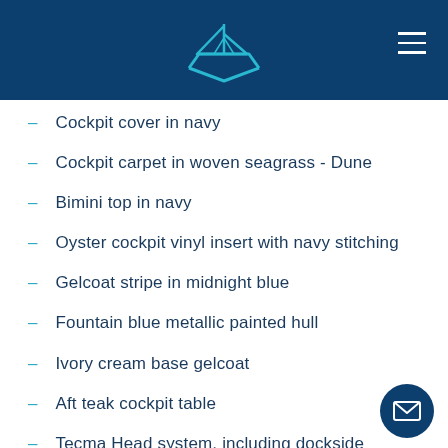Cockpit cover in navy
Cockpit carpet in woven seagrass - Dune
Bimini top in navy
Oyster cockpit vinyl insert with navy stitching
Gelcoat stripe in midnight blue
Fountain blue metallic painted hull
Ivory cream base gelcoat
Aft teak cockpit table
Tecma Head system, including dockside pumpout
Windlass with SS Anchor and approx 100' Chain